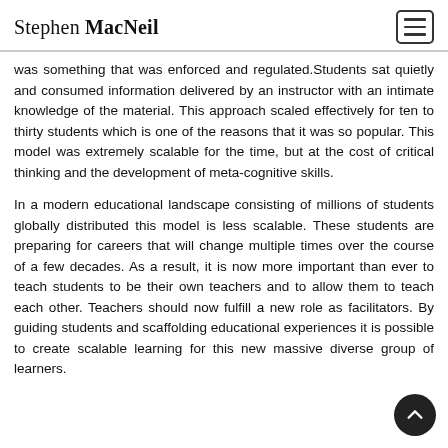Stephen MacNeil
was something that was enforced and regulated.Students sat quietly and consumed information delivered by an instructor with an intimate knowledge of the material. This approach scaled effectively for ten to thirty students which is one of the reasons that it was so popular. This model was extremely scalable for the time, but at the cost of critical thinking and the development of meta-cognitive skills.
In a modern educational landscape consisting of millions of students globally distributed this model is less scalable. These students are preparing for careers that will change multiple times over the course of a few decades. As a result, it is now more important than ever to teach students to be their own teachers and to allow them to teach each other. Teachers should now fulfill a new role as facilitators. By guiding students and scaffolding educational experiences it is possible to create scalable learning for this new massive diverse group of learners.